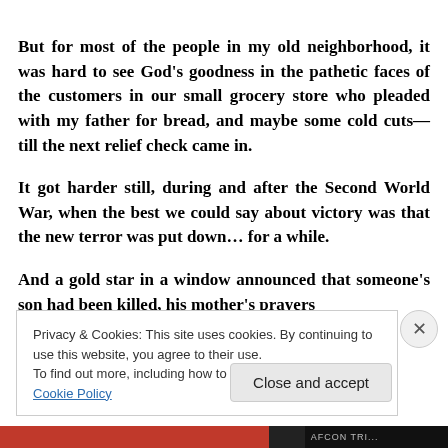But for most of the people in my old neighborhood, it was hard to see God's goodness in the pathetic faces of the customers in our small grocery store who pleaded with my father for bread, and maybe some cold cuts—till the next relief check came in.
It got harder still, during and after the Second World War, when the best we could say about victory was that the new terror was put down… for a while.
And a gold star in a window announced that someone's son had been killed, his mother's prayers
Privacy & Cookies: This site uses cookies. By continuing to use this website, you agree to their use.
To find out more, including how to control cookies, see here: Cookie Policy
Close and accept